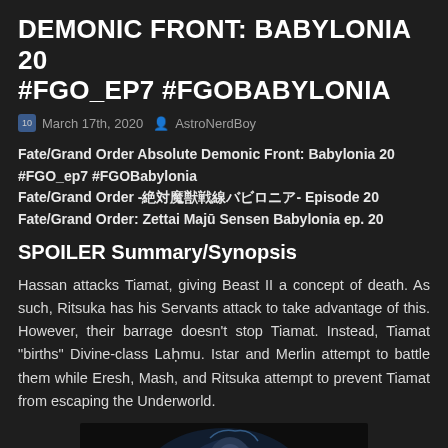DEMONIC FRONT: BABYLONIA 20 #FGO_EP7 #FGOBABYLONIA
March 17th, 2020  AstroNerdBoy
Fate/Grand Order Absolute Demonic Front: Babylonia 20 #FGO_ep7 #FGOBabylonia
Fate/Grand Order -絶対魔獣戦線バビロニア- Episode 20
Fate/Grand Order: Zettai Majū Sensen Babylonia ep. 20
SPOILER Summary/Synopsis
Hassan attacks Tiamat, giving Beast II a concept of death. As such, Ritsuka has his Servants attack to take advantage of this. However, their barrage doesn't stop Tiamat. Instead, Tiamat "births" Divine-class Laḥmu. Istar and Merlin attempt to battle them while Eresh, Mash, and Ritsuka attempt to prevent Tiamat from escaping the Underworld.
[Figure (photo): Dark anime screenshot showing a character with glowing blue accents, likely from Fate/Grand Order Babylonia episode 20]